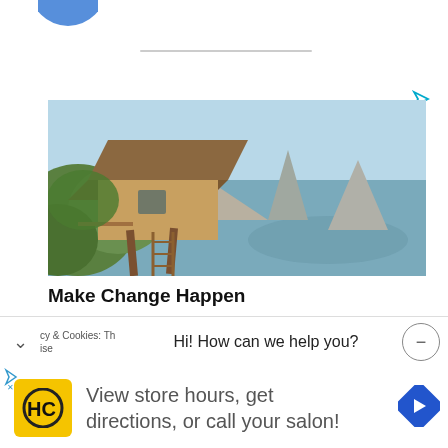[Figure (logo): Partial logo visible at top-left, appears to be a blue circular logo (only bottom portion visible)]
[Figure (photo): Photograph of a thatched-roof wooden bungalow/hut on a cliff overlooking a scenic ocean bay with rock formations, tropical greenery in foreground, clear sky in background]
Make Change Happen
cy & Cookies: Th         ise
Hi! How can we help you?
[Figure (logo): HC logo — yellow/gold square with rounded corners, black HC monogram inside]
View store hours, get directions, or call your salon!
[Figure (other): Blue diamond-shaped navigation/directions arrow icon]